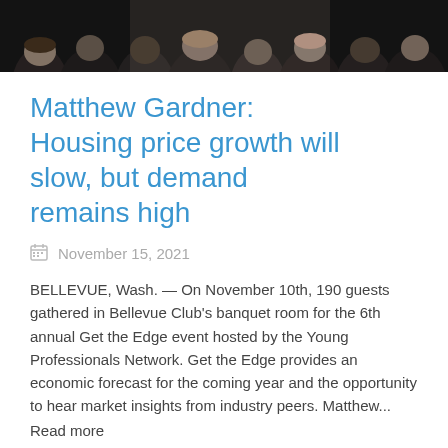[Figure (photo): Crowd of people gathered in a banquet room, seen from behind, dressed in dark attire]
Matthew Gardner: Housing price growth will slow, but demand remains high
November 15, 2021
BELLEVUE, Wash. — On November 10th, 190 guests gathered in Bellevue Club's banquet room for the 6th annual Get the Edge event hosted by the Young Professionals Network. Get the Edge provides an economic forecast for the coming year and the opportunity to hear market insights from industry peers. Matthew...
Read more